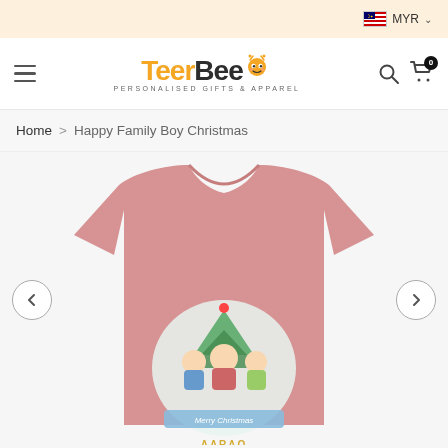MYR
[Figure (logo): TeerBee logo with bee character, tagline: PERSONALISED GIFTS & APPAREL]
Home > Happy Family Boy Christmas
[Figure (photo): Pink children's t-shirt with Happy Family Boy Christmas cartoon design featuring characters and Merry Christmas text]